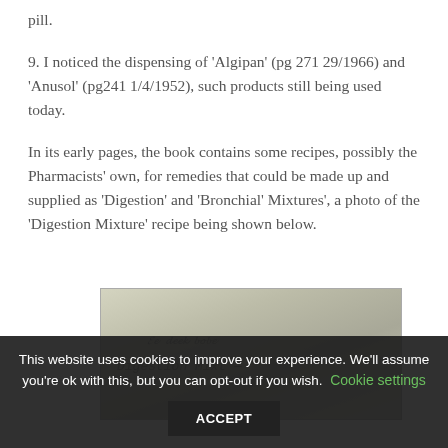the end of book more repeats for the contraceptive pill.
9. I noticed the dispensing of 'Algipan' (pg 271 29/1966) and 'Anusol' (pg241 1/4/1952), such products still being used today.
In its early pages, the book contains some recipes, possibly the Pharmacists' own, for remedies that could be made up and supplied as 'Digestion' and 'Bronchial' Mixtures', a photo of the 'Digestion Mixture' recipe being shown below.
[Figure (photo): A photograph of a handwritten recipe page, partially visible, appearing to be an old prescription or remedy recipe, with cursive handwriting on aged paper.]
This website uses cookies to improve your experience. We'll assume you're ok with this, but you can opt-out if you wish. Cookie settings ACCEPT